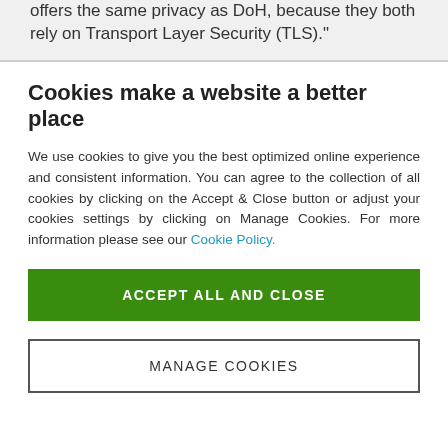offers the same privacy as DoH, because they both rely on Transport Layer Security (TLS)."
Cookies make a website a better place
We use cookies to give you the best optimized online experience and consistent information. You can agree to the collection of all cookies by clicking on the Accept & Close button or adjust your cookies settings by clicking on Manage Cookies. For more information please see our Cookie Policy.
ACCEPT ALL AND CLOSE
MANAGE COOKIES